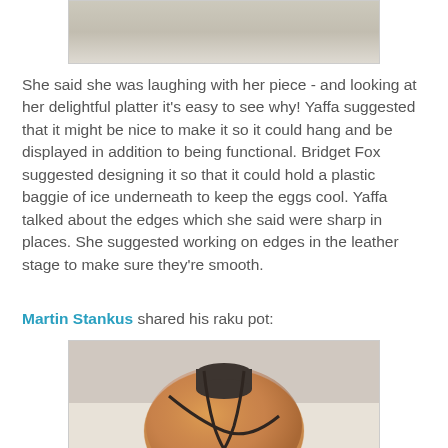[Figure (photo): Top portion of a ceramic platter with textured surface, partially visible]
She said she was laughing with her piece - and looking at her delightful platter it’s easy to see why! Yaffa suggested that it might be nice to make it so it could hang and be displayed in addition to being functional. Bridget Fox suggested designing it so that it could hold a plastic baggie of ice underneath to keep the eggs cool. Yaffa talked about the edges which she said were sharp in places. She suggested working on edges in the leather stage to make sure they’re smooth.
Martin Stankus shared his raku pot:
[Figure (photo): A raku-fired ceramic pot with orange/amber crackle glaze and dark brown geometric line pattern, rounded spherical body with narrow neck opening]